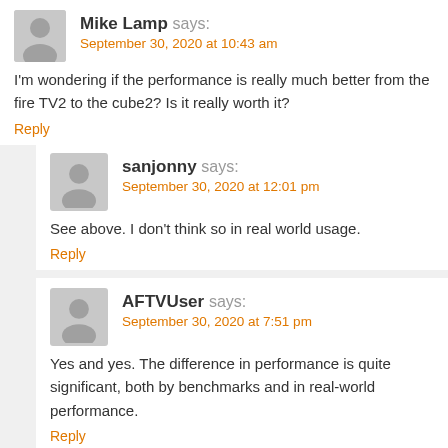Mike Lamp says:
September 30, 2020 at 10:43 am
I'm wondering if the performance is really much better from the fire TV2 to the cube2? Is it really worth it?
Reply
sanjonny says:
September 30, 2020 at 12:01 pm
See above. I don't think so in real world usage.
Reply
AFTVUser says:
September 30, 2020 at 7:51 pm
Yes and yes. The difference in performance is quite significant, both by benchmarks and in real-world performance.
Reply